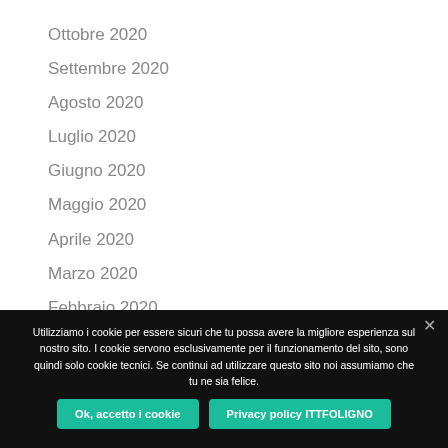Ottobre 2020
Settembre 2020
Agosto 2020
Luglio 2020
Giugno 2020
Maggio 2020
Aprile 2020
Marzo 2020
Febbraio 2020
Utilizziamo i cookie per essere sicuri che tu possa avere la migliore esperienza sul nostro sito. I cookie servono esclusivamente per il funzionamento del sito, sono quindi solo cookie tecnici. Se continui ad utilizzare questo sito noi assumiamo che tu ne sia felice.
Ok, accetto i cookie
Privacy policy ITTFOLIGNO